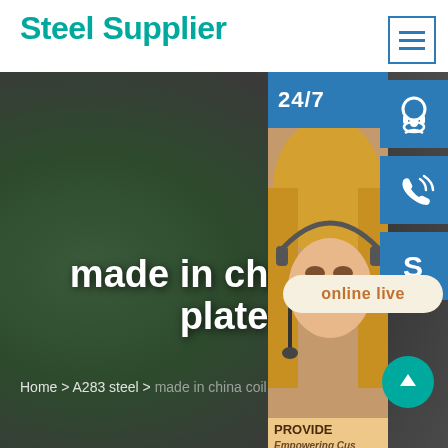Steel Supplier
[Figure (screenshot): Website screenshot showing Steel Supplier steel products page with dark background, customer service widgets including headset icon, phone icon, Skype icon, 24/7 banner, customer service photo, PROVIDE Empowering Customers text, and online live chat button]
made in china co plate
Home > A283 steel > made in china coil sheet plate